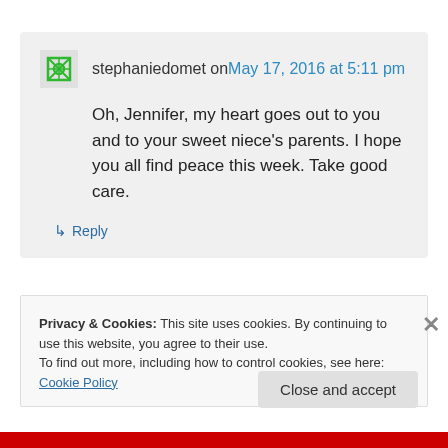stephaniedomet on May 17, 2016 at 5:11 pm
Oh, Jennifer, my heart goes out to you and to your sweet niece's parents. I hope you all find peace this week. Take good care.
↳ Reply
Privacy & Cookies: This site uses cookies. By continuing to use this website, you agree to their use. To find out more, including how to control cookies, see here: Cookie Policy
Close and accept